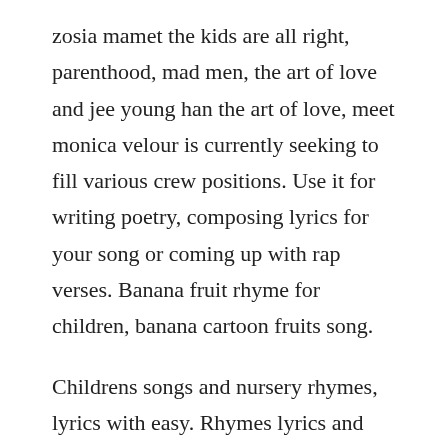zosia mamet the kids are all right, parenthood, mad men, the art of love and jee young han the art of love, meet monica velour is currently seeking to fill various crew positions. Use it for writing poetry, composing lyrics for your song or coming up with rap verses. Banana fruit rhyme for children, banana cartoon fruits song.
Childrens songs and nursery rhymes, lyrics with easy. Rhymes lyrics and poems near rhymes phrase rhymes synonyms related phrases example sentences descriptive words